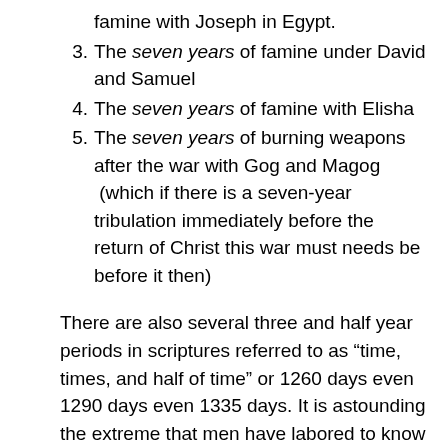famine with Joseph in Egypt.
3. The seven years of famine under David and Samuel
4. The seven years of famine with Elisha
5. The seven years of burning weapons after the war with Gog and Magog (which if there is a seven-year tribulation immediately before the return of Christ this war must needs be before it then)
There are also several three and half year periods in scriptures referred to as “time, times, and half of time” or 1260 days even 1290 days even 1335 days. It is astounding the extreme that men have labored to know and define these times for years when scripture clearly states in regards to some of them that these things are sealed until the end. I am personally persuaded that for anyone to assume that each of these times mentioned are referencing to the same time period would be so...